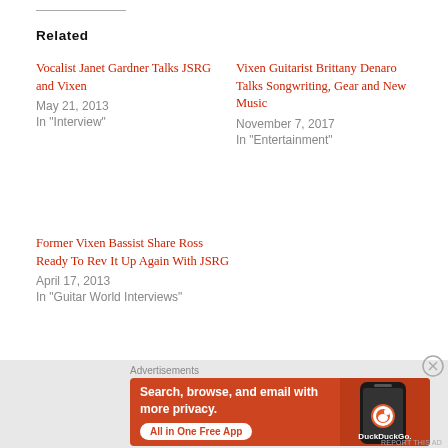Related
Vocalist Janet Gardner Talks JSRG and Vixen
May 21, 2013
In "Interview"
Vixen Guitarist Brittany Denaro Talks Songwriting, Gear and New Music
November 7, 2017
In "Entertainment"
Former Vixen Bassist Share Ross Ready To Rev It Up Again With JSRG
April 17, 2013
In "Guitar World Interviews"
Advertisements
[Figure (screenshot): DuckDuckGo advertisement banner with orange background showing 'Search, browse, and email with more privacy. All in One Free App' with a phone graphic and DuckDuckGo logo/branding]